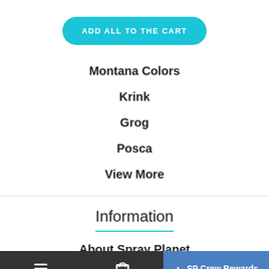ADD ALL TO THE CART
Montana Colors
Krink
Grog
Posca
View More
Information
About Spray Planet
≡  🛒 0  SP Crew Rewards